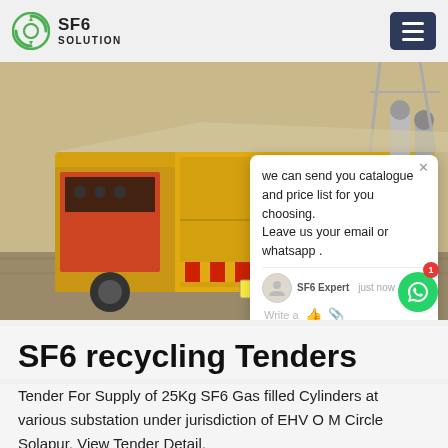SF6 SOLUTION
[Figure (photo): Yellow SF6 gas service truck at an electrical substation with industrial equipment visible in background. A chat popup overlay is visible on the right side of the image showing a message: 'we can send you catalogue and price list for you choosing. Leave us your email or whatsapp .' with SF6 Expert label and 'just now' timestamp.]
SF6 recycling Tenders
Tender For Supply of 25Kg SF6 Gas filled Cylinders at various substation under jurisdiction of EHV O M Circle Solapur. View Tender Detail.